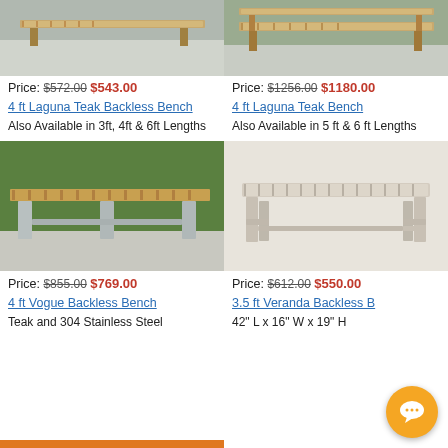[Figure (photo): Top portion of 4 ft Laguna Teak Backless Bench outdoor photo on stone pavement]
[Figure (photo): Top portion of 4 ft Laguna Teak Bench outdoor photo]
Price: $572.00 $543.00
4 ft Laguna Teak Backless Bench
Also Available in 3ft, 4ft & 6ft Lengths
Price: $1256.00 $1180.00
4 ft Laguna Teak Bench
Also Available in 5 ft & 6 ft Lengths
[Figure (photo): 4 ft Vogue Backless Bench with teak top and stainless steel legs on grass background]
[Figure (photo): 3.5 ft Veranda Backless Bench in light grey/weathered teak finish]
Price: $855.00 $769.00
4 ft Vogue Backless Bench
Teak and 304 Stainless Steel
Price: $612.00 $550.00
3.5 ft Veranda Backless B...
42" L x 16" W x 19" H